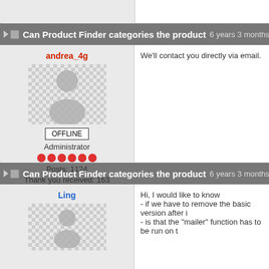Can Product Finder categories the product 6 years 3 months a
andrea_4g
[Figure (illustration): Default user avatar with checkered background, grey silhouette person icon]
OFFLINE
Administrator
Posts: 1124
Thank you received: 163
We'll contact you directly via email.
Can Product Finder categories the product 6 years 3 months a
Ling
[Figure (illustration): Default user avatar with checkered background, grey silhouette person icon]
Hi, I would like to know
- if we have to remove the basic version after i
- is that the "mailer" function has to be run on t